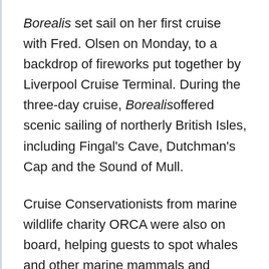Borealis set sail on her first cruise with Fred. Olsen on Monday, to a backdrop of fireworks put together by Liverpool Cruise Terminal. During the three-day cruise, Borealis offered scenic sailing of northerly British Isles, including Fingal's Cave, Dutchman's Cap and the Sound of Mull.
Cruise Conservationists from marine wildlife charity ORCA were also on board, helping guests to spot whales and other marine mammals and conducting their own vital research into wildlife populations. In total the team, with help from guests, spotted more